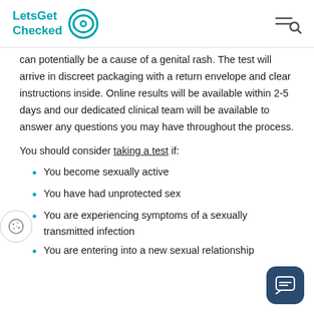LetsGet Checked
can potentially be a cause of a genital rash. The test will arrive in discreet packaging with a return envelope and clear instructions inside. Online results will be available within 2-5 days and our dedicated clinical team will be available to answer any questions you may have throughout the process.
You should consider taking a test if:
You become sexually active
You have had unprotected sex
You are experiencing symptoms of a sexually transmitted infection
You are entering into a new sexual relationship